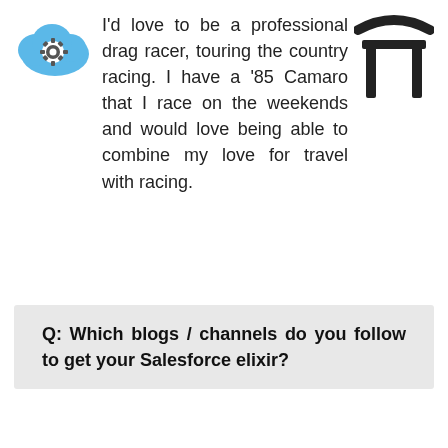I'd love to be a professional drag racer, touring the country racing. I have a '85 Camaro that I race on the weekends and would love being able to combine my love for travel with racing.
Q: Which blogs / channels do you follow to get your Salesforce elixir?
Some of the main blogs I follow include the Admin Hero Blog, PUB Crawl, Nonprofit Office Hours, Automation Champion, Salesforce Admin Blog and of course Twitter for anything